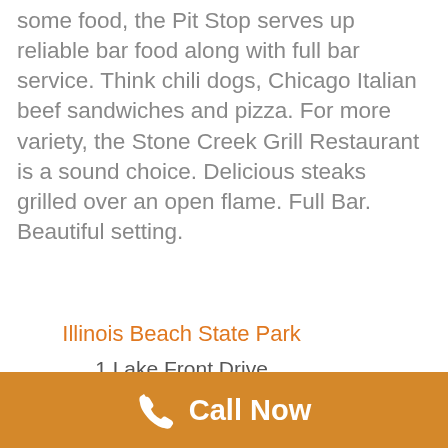some food, the Pit Stop serves up reliable bar food along with full bar service. Think chili dogs, Chicago Italian beef sandwiches and pizza. For more variety, the Stone Creek Grill Restaurant is a sound choice. Delicious steaks grilled over an open flame. Full Bar. Beautiful setting.
Illinois Beach State Park
1 Lake Front Drive
Zion, IL 60099
(847) 662- 4811
Hosah Park
100 Shiloh Blvd
Call Now